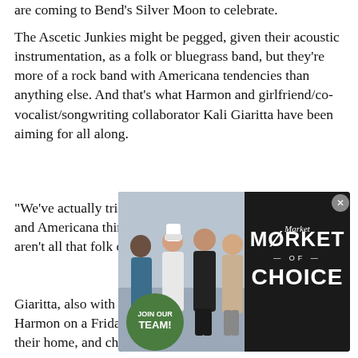are coming to Bend's Silver Moon to celebrate.
The Ascetic Junkies might be pegged, given their acoustic instrumentation, as a folk or bluegrass band, but they're more of a rock band with Americana tendencies than anything else. And that's what Harmon and girlfriend/co-vocalist/songwriting collaborator Kali Giaritta have been aiming for all along.
"We've actually tried to distance ourselves from the folk and Americana thing. I think the songs on the new album aren't all that folk or bluegrass," says Harmon.
Giaritta, also with a phone in hand, is sitting next to Harmon on a Friday afternoon when they check in from their home, and chimes in on whether or not this is a folk bluegrass band. Which apparently she didn't...
[Figure (advertisement): Market of Choice advertisement showing four employees with a 'Join Our Team!' badge on the left photo side, and the Market of Choice logo on the right dark background side.]